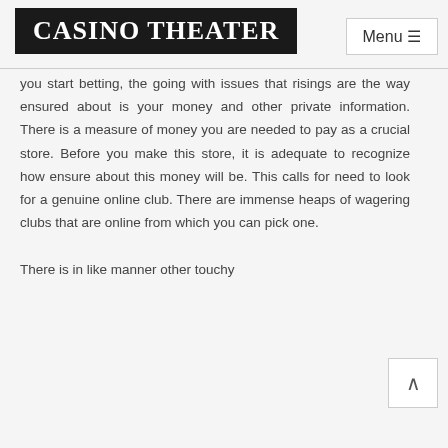CASINO THEATER
you start betting, the going with issues that risings are the way ensured about is your money and other private information. There is a measure of money you are needed to pay as a crucial store. Before you make this store, it is adequate to recognize how ensure about this money will be. This calls for need to look for a genuine online club. There are immense heaps of wagering clubs that are online from which you can pick one.
There is in like manner other touchy